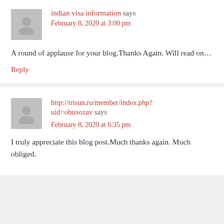indian visa information says
February 8, 2020 at 3:00 pm
A round of applause for your blog.Thanks Again. Will read on…
Reply
http://trisun.ru/member/index.php?uid=obuxozav says
February 8, 2020 at 6:35 pm
I truly appreciate this blog post.Much thanks again. Much obliged.